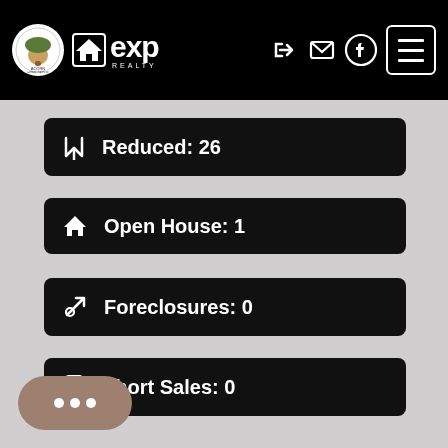Acorn Home Group / eXp Realty navigation bar
Reduced: 26
Open House: 1
Foreclosures: 0
Short Sales: 0